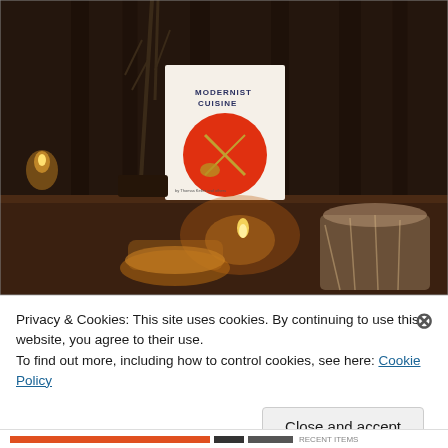[Figure (photo): Dimly lit scene with a book titled 'Modernist Cuisine' displayed on a stand in the background, with bare branches/twigs in a vase, a candle flame, and glass/crystal candleholders on a dark surface in the foreground.]
Privacy & Cookies: This site uses cookies. By continuing to use this website, you agree to their use.
To find out more, including how to control cookies, see here: Cookie Policy
Close and accept